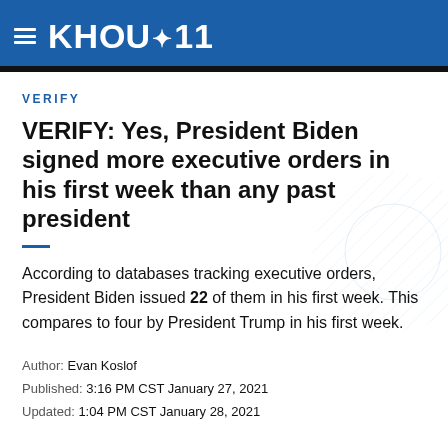KHOU 11
VERIFY
VERIFY: Yes, President Biden signed more executive orders in his first week than any past president
According to databases tracking executive orders, President Biden issued 22 of them in his first week. This compares to four by President Trump in his first week.
Author: Evan Koslof
Published: 3:16 PM CST January 27, 2021
Updated: 1:04 PM CST January 28, 2021